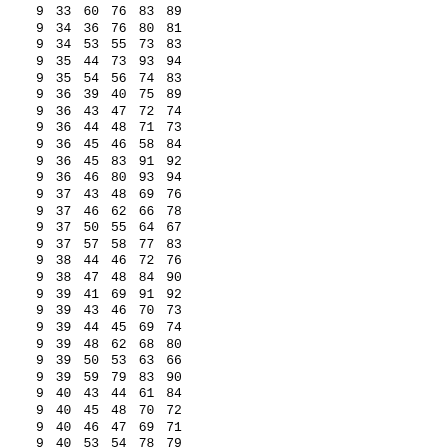| 9 | 33 | 60 | 76 | 83 | 89 |
| 9 | 34 | 36 | 76 | 80 | 81 |
| 9 | 34 | 53 | 55 | 73 | 83 |
| 9 | 35 | 44 | 73 | 93 | 94 |
| 9 | 35 | 54 | 56 | 74 | 83 |
| 9 | 36 | 39 | 40 | 75 | 89 |
| 9 | 36 | 43 | 47 | 72 | 74 |
| 9 | 36 | 44 | 48 | 71 | 73 |
| 9 | 36 | 45 | 46 | 58 | 84 |
| 9 | 36 | 45 | 83 | 91 | 92 |
| 9 | 36 | 46 | 80 | 93 | 94 |
| 9 | 37 | 43 | 48 | 69 | 76 |
| 9 | 37 | 46 | 62 | 66 | 78 |
| 9 | 37 | 50 | 55 | 64 | 67 |
| 9 | 37 | 57 | 58 | 77 | 83 |
| 9 | 38 | 44 | 46 | 72 | 76 |
| 9 | 38 | 47 | 48 | 84 | 90 |
| 9 | 39 | 41 | 69 | 91 | 92 |
| 9 | 39 | 43 | 46 | 70 | 73 |
| 9 | 39 | 44 | 45 | 69 | 74 |
| 9 | 39 | 48 | 62 | 68 | 80 |
| 9 | 39 | 50 | 53 | 63 | 66 |
| 9 | 39 | 59 | 79 | 83 | 90 |
| 9 | 40 | 43 | 44 | 61 | 84 |
| 9 | 40 | 45 | 48 | 70 | 72 |
| 9 | 40 | 46 | 47 | 69 | 71 |
| 9 | 40 | 53 | 54 | 78 | 79 |
| 9 | 40 | 55 | 56 | 77 | 80 |
| 9 | 40 | 58 | 59 | 73 | 74 |
| 9 | 40 | 66 | 84 | 93 | 94 |